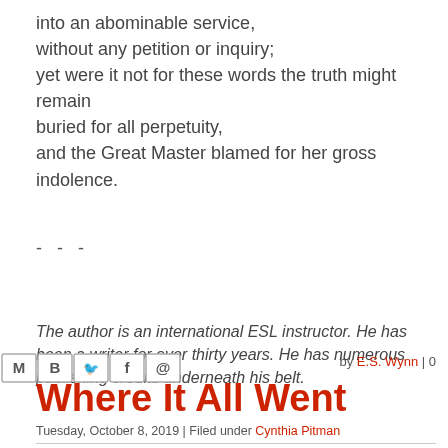into an abominable service,
without any petition or inquiry;
yet were it not for these words the truth might remain buried for all perpetuity,
and the Great Master blamed for her gross indolence.
- - -
The author is an international ESL instructor. He has been a writer for over thirty years. He has numerous publishing credits underneath his belt.
[Figure (other): Social media sharing icons: email (M), Blogger (B), Twitter (bird), Facebook (f), Pinterest (P)]
by E.S. Wynn | 0
Where It All Went
Tuesday, October 8, 2019 | Filed under Cynthia Pitman